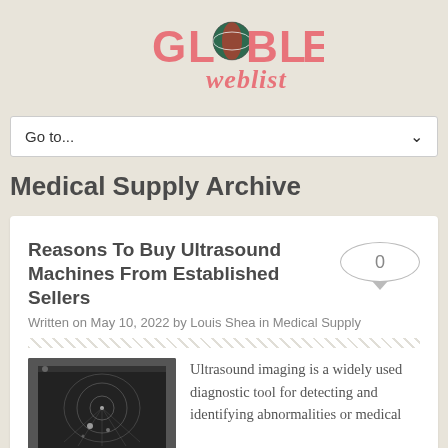[Figure (logo): Globle Weblist logo with stylized text 'GLOBE weblist' where the O contains a globe graphic in red, green and dark teal colors]
Go to...
Medical Supply Archive
Reasons To Buy Ultrasound Machines From Established Sellers
Written on May 10, 2022 by Louis Shea in Medical Supply
[Figure (photo): Black and white photo showing an ultrasound machine screen with an ultrasound image displayed]
Ultrasound imaging is a widely used diagnostic tool for detecting and identifying abnormalities or medical